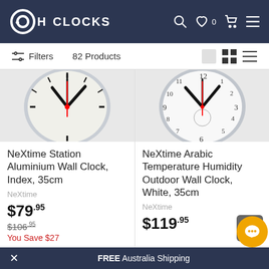Oh Clocks — navigation header with logo, search, wishlist, cart, menu icons
Filters  82 Products
[Figure (photo): Partial view of NeXtime Station Aluminium Wall Clock — round white clock face with black numerals and red second hand]
[Figure (photo): Partial view of NeXtime Arabic Temperature Humidity Outdoor Wall Clock — round white clock face with arabic numerals and red second hand, also showing thermometer/humidity subdial]
NeXtime Station Aluminium Wall Clock, Index, 35cm
NeXtime
$79.95
$106.95
You Save $27
NeXtime Arabic Temperature Humidity Outdoor Wall Clock, White, 35cm
NeXtime
$119.95
FREE Australia Shipping